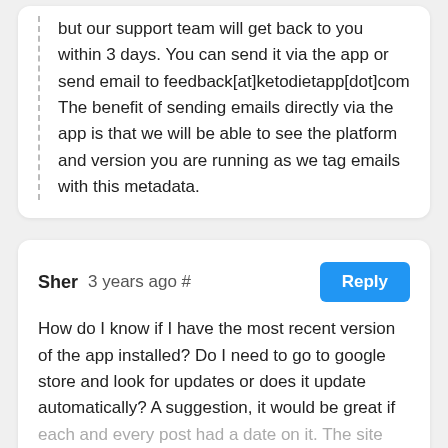but our support team will get back to you within 3 days. You can send it via the app or send email to feedback[at]ketodietapp[dot]com
The benefit of sending emails directly via the app is that we will be able to see the platform and version you are running as we tag emails with this metadata.
Sher   3 years ago #
How do I know if I have the most recent version of the app installed? Do I need to go to google store and look for updates or does it update automatically?  A suggestion, it would be great if each and every post had a date on it. The site has become so large it is difficult to find details about the